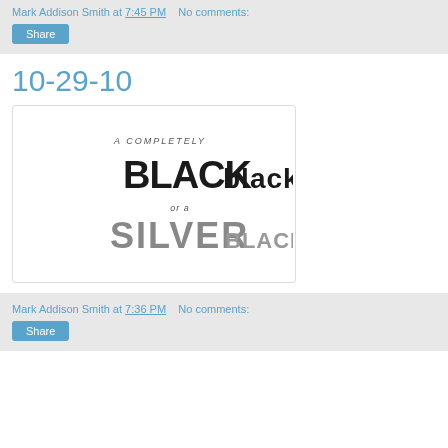Mark Addison Smith at 7:45 PM    No comments:
Share
10-29-10
[Figure (illustration): Hand-lettered typographic image reading: 'A COMPLETELY BLACK BLACK or a SILVER BLACK?' with bold black brush lettering for BLACK BLACK and gray sketchy lettering for SILVER BLACK]
Mark Addison Smith at 7:36 PM    No comments:
Share